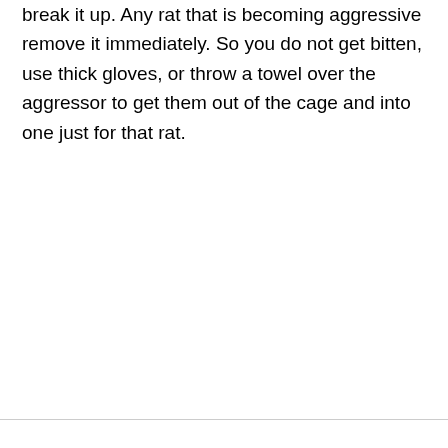break it up.  Any rat that is becoming aggressive remove it immediately.  So you do not get bitten, use thick gloves, or throw a towel over the aggressor to get them out of the cage and into one just for that rat.